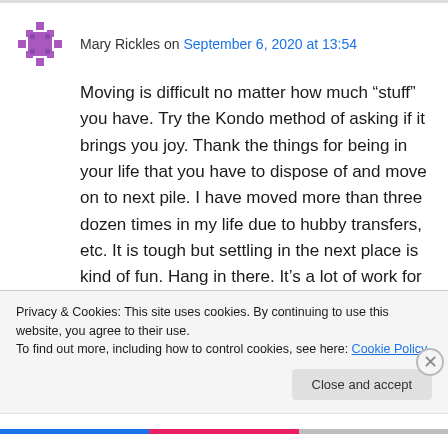Mary Rickles on September 6, 2020 at 13:54
Moving is difficult no matter how much “stuff” you have. Try the Kondo method of asking if it brings you joy. Thank the things for being in your life that you have to dispose of and move on to next pile. I have moved more than three dozen times in my life due to hubby transfers, etc. It is tough but settling in the next place is kind of fun. Hang in there. It’s a lot of work for sure. Keep quilting ~
Privacy & Cookies: This site uses cookies. By continuing to use this website, you agree to their use.
To find out more, including how to control cookies, see here: Cookie Policy